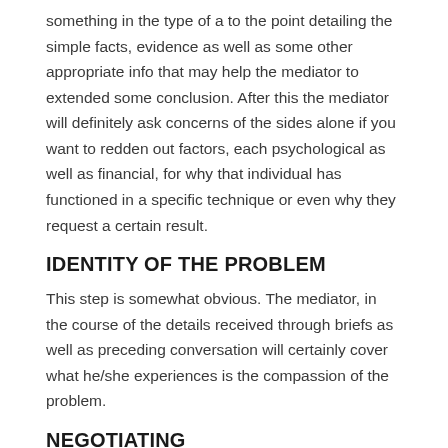something in the type of a to the point detailing the simple facts, evidence as well as some other appropriate info that may help the mediator to extended some conclusion. After this the mediator will definitely ask concerns of the sides alone if you want to redden out factors, each psychological as well as financial, for why that individual has functioned in a specific technique or even why they request a certain result.
IDENTITY OF THE PROBLEM
This step is somewhat obvious. The mediator, in the course of the details received through briefs as well as preceding conversation will certainly cover what he/she experiences is the compassion of the problem.
NEGOTIATING